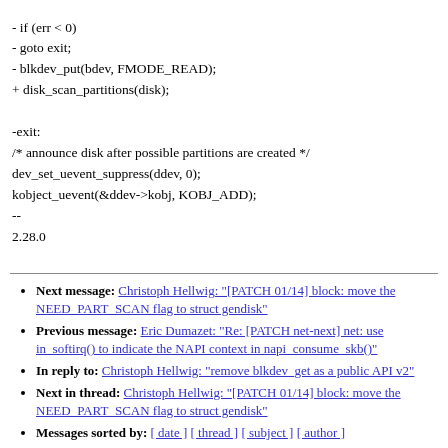- if (err < 0)
- goto exit;
- blkdev_put(bdev, FMODE_READ);
+ disk_scan_partitions(disk);

-exit:
/* announce disk after possible partitions are created */
dev_set_uevent_suppress(ddev, 0);
kobject_uevent(&ddev->kobj, KOBJ_ADD);
--
2.28.0
Next message: Christoph Hellwig: "[PATCH 01/14] block: move the NEED_PART_SCAN flag to struct gendisk"
Previous message: Eric Dumazet: "Re: [PATCH net-next] net: use in_softirq() to indicate the NAPI context in napi_consume_skb()"
In reply to: Christoph Hellwig: "remove blkdev_get as a public API v2"
Next in thread: Christoph Hellwig: "[PATCH 01/14] block: move the NEED_PART_SCAN flag to struct gendisk"
Messages sorted by: [ date ] [ thread ] [ subject ] [ author ]